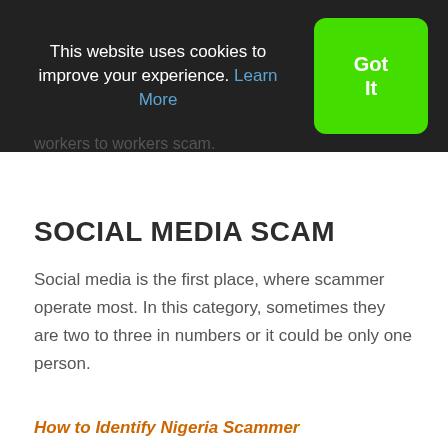This website uses cookies to improve your experience. Learn More
Got It
workers to workers scam.
SOCIAL MEDIA SCAM
Social media is the first place, where scammer operate most. In this category, sometimes they are two to three in numbers or it could be only one person.
How to Identify Nigeria Scammer